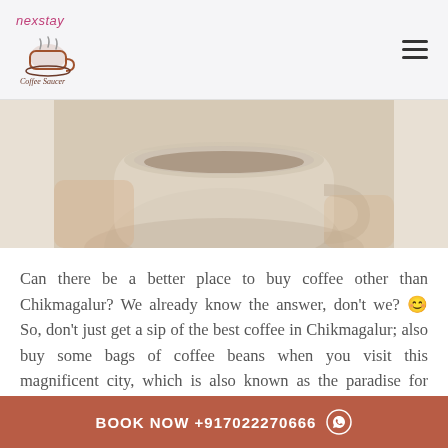nexstay | Coffee Saucer Resort (logo)
[Figure (photo): Partial view of a coffee cup with saucer, cropped at top of page]
Can there be a better place to buy coffee other than Chikmagalur? We already know the answer, don't we? 😊 So, don't just get a sip of the best coffee in Chikmagalur; also buy some bags of coffee beans when you visit this magnificent city, which is also known as the paradise for coffee lovers. You will find lots of coffee powder retailers in and around the
BOOK NOW +917022270666